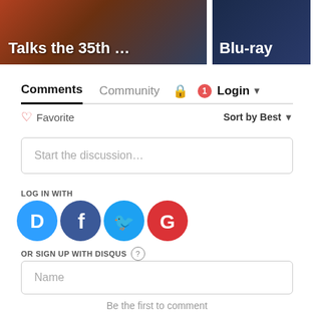[Figure (screenshot): Two thumbnail images at top: left shows 'Talks the 35th ...' with a person photo, right shows 'Blu-ray' with dark background]
Comments  Community  🔒  1  Login ▾
♡ Favorite
Sort by Best ▾
Start the discussion…
LOG IN WITH
[Figure (logo): Four social login icons: Disqus (blue D), Facebook (dark blue f), Twitter (light blue bird), Google (red G)]
OR SIGN UP WITH DISQUS ?
Name
Be the first to comment